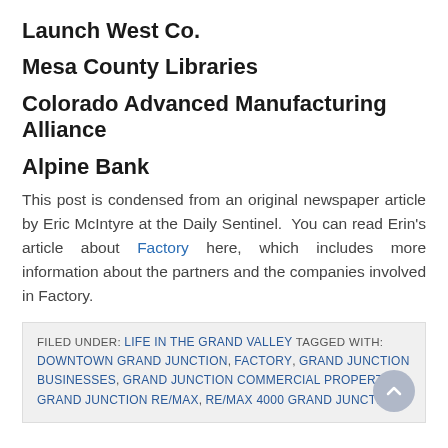Launch West Co.
Mesa County Libraries
Colorado Advanced Manufacturing Alliance
Alpine Bank
This post is condensed from an original newspaper article by Eric McIntyre at the Daily Sentinel.  You can read Erin's article about Factory here, which includes more information about the partners and the companies involved in Factory.
FILED UNDER: LIFE IN THE GRAND VALLEY TAGGED WITH: DOWNTOWN GRAND JUNCTION, FACTORY, GRAND JUNCTION BUSINESSES, GRAND JUNCTION COMMERCIAL PROPERTY, GRAND JUNCTION RE/MAX, RE/MAX 4000 GRAND JUNCTION